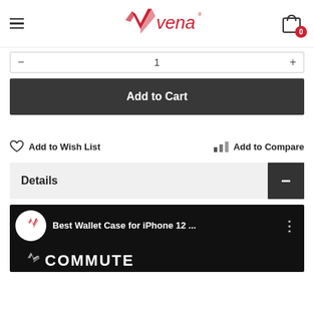Vena — navigation header with logo and cart
Quantity selector bar
Add to Cart
Add to Wish List
Add to Compare
Details
[Figure (screenshot): Video thumbnail with Vena logo, title 'Best Wallet Case for iPhone 12 ...' and Commute text overlay on dark background]